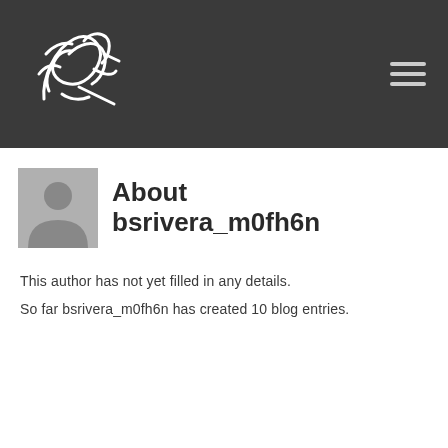[Figure (logo): Handwritten signature logo in white on dark gray header background]
About bsrivera_m0fh6n
[Figure (illustration): Generic gray user avatar placeholder icon]
This author has not yet filled in any details.
So far bsrivera_m0fh6n has created 10 blog entries.